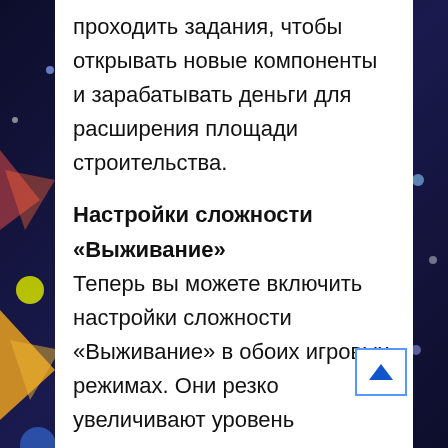проходить задания, чтобы открывать новые компоненты и зарабатывать деньги для расширения площади строительства.
Настройки сложности «Выживание»
Теперь вы можете включить настройки сложности «Выживание» в обоих игровых режимах. Они резко увеличивают уровень сложности поисково-спасательных операций, добавляя в игру наиболее проработанные и продвинутые игровые функции, такие как: продвинутая механика работы